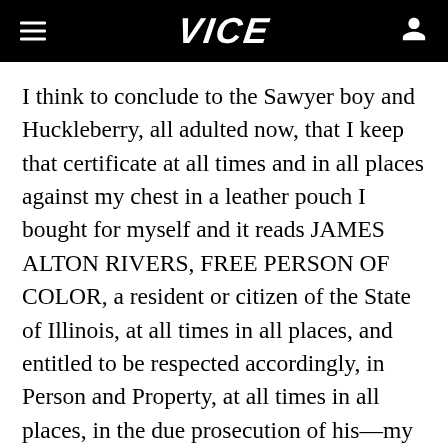VICE
I think to conclude to the Sawyer boy and Huckleberry, all adulted now, that I keep that certificate at all times and in all places against my chest in a leather pouch I bought for myself and it reads JAMES ALTON RIVERS, FREE PERSON OF COLOR, a resident or citizen of the State of Illinois, at all times in all places, and entitled to be respected accordingly, in Person and Property, at all times in all places, in the due prosecution of his—my—concerns, at all times in all places, signed with the Seal of said Court, at Chicago, on the 23rd of November in the year of our Lord one thousand eight